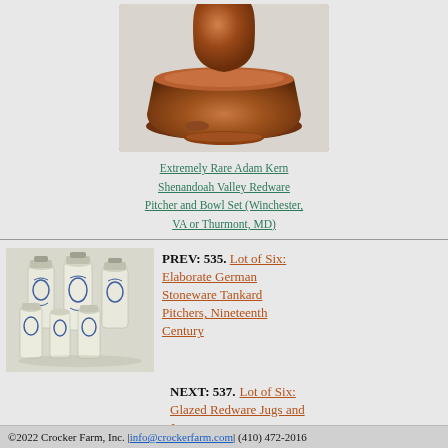[Figure (photo): Ceramic redware pitcher and bowl set, glazed in warm reddish-brown tones]
Extremely Rare Adam Kern Shenandoah Valley Redware Pitcher and Bowl Set (Winchester, VA or Thurmont, MD)
[Figure (photo): Six elaborate German stoneware tankard pitchers, decorated with blue floral designs on white/gray stoneware]
PREV: 535. Lot of Six: Elaborate German Stoneware Tankard Pitchers, Nineteenth Century
NEXT: 537. Lot of Six: Glazed Redware Jugs and Jars
©2022 Crocker Farm, Inc. | info@crockerfarm.com | (410) 472-2016